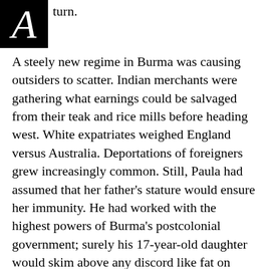turn.
[Figure (other): Large decorative drop capital letter A in white on black square background]
A steely new regime in Burma was causing outsiders to scatter. Indian merchants were gathering what earnings could be salvaged from their teak and rice mills before heading west. White expatriates weighed England versus Australia. Deportations of foreigners grew increasingly common. Still, Paula had assumed that her father's stature would ensure her immunity. He had worked with the highest powers of Burma's postcolonial government; surely his 17-year-old daughter would skim above any discord like fat on milk.

Besides, she was a native. Her parents were from Illinois, but she had been born in Rangoon. She spoke Burmese. She reflexively knew the differences in climate, language, and culture between the